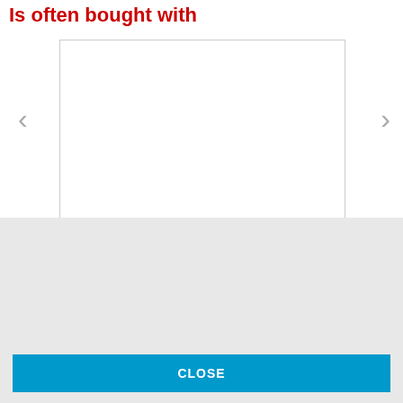Is often bought with
[Figure (other): Product carousel area with left and right navigation arrows and an empty white product image box]
Use of Cookies
We use cookies to improve your website experience and for web analytics purposes. By continuing to use our website you agree to our Privacy Policy and the use of cookies as well as our Terms and Conditions and Terms and Conditions - Web & App.
CLOSE